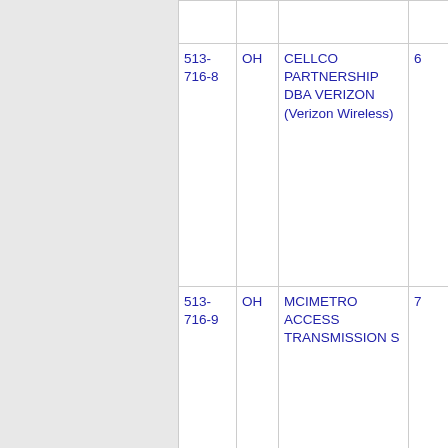| 513-716-8 | OH | CELLCO PARTNERSHIP DBA VERIZON (Verizon Wireless) | 6 |
| 513-716-9 | OH | MCIMETRO ACCESS TRANSMISSION S | 7 |